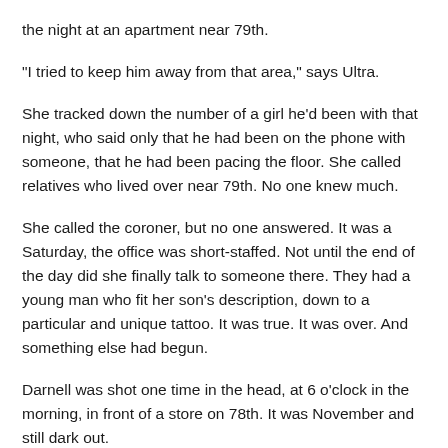the night at an apartment near 79th.
"I tried to keep him away from that area," says Ultra.
She tracked down the number of a girl he'd been with that night, who said only that he had been on the phone with someone, that he had been pacing the floor. She called relatives who lived over near 79th. No one knew much.
She called the coroner, but no one answered. It was a Saturday, the office was short-staffed. Not until the end of the day did she finally talk to someone there. They had a young man who fit her son's description, down to a particular and unique tattoo. It was true. It was over. And something else had begun.
Darnell was shot one time in the head, at 6 o'clock in the morning, in front of a store on 78th. It was November and still dark out.